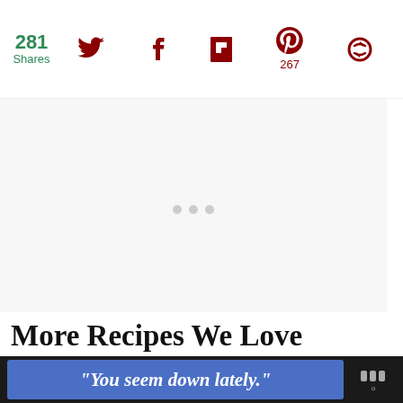281 Shares — social share bar with Twitter, Facebook, Flipboard, Pinterest (267), and another icon
[Figure (screenshot): White blank image area with faint loading dots, representing an embedded video or image placeholder]
[Figure (screenshot): Floating action buttons on right side: teal heart/save button and white share button]
[Figure (screenshot): What's Next panel with food photo thumbnail and text: 'Easy Chantilly Potatoes']
More Recipes We Love
[Figure (screenshot): Bottom ad banner with dark background, blue panel with italic text: "You seem down lately." and a logo on the right]